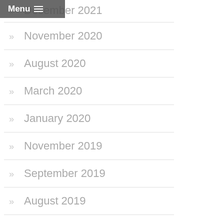December 2021
November 2020
August 2020
March 2020
January 2020
November 2019
September 2019
August 2019
July 2019
May 2019